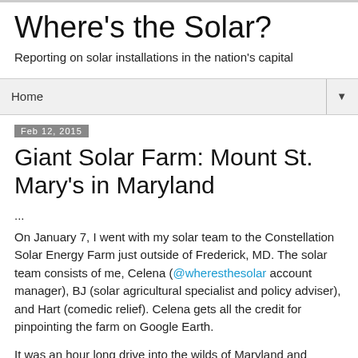Where's the Solar?
Reporting on solar installations in the nation's capital
Home ▼
Feb 12, 2015
Giant Solar Farm: Mount St. Mary's in Maryland
...
On January 7, I went with my solar team to the Constellation Solar Energy Farm just outside of Frederick, MD. The solar team consists of me, Celena (@wheresthesolar account manager), BJ (solar agricultural specialist and policy adviser), and Hart (comedic relief). Celena gets all the credit for pinpointing the farm on Google Earth.
It was an hour long drive into the wilds of Maryland and